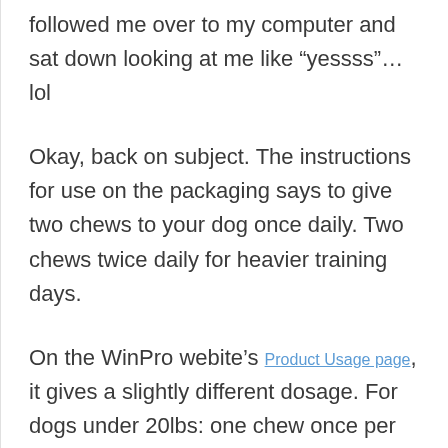followed me over to my computer and sat down looking at me like “yessss”… lol
Okay, back on subject. The instructions for use on the packaging says to give two chews to your dog once daily. Two chews twice daily for heavier training days.
On the WinPro webite’s Product Usage page, it gives a slightly different dosage. For dogs under 20lbs: one chew once per day. Dogs over 20lbs: two chews once per day.
It also states that if you have an event coming